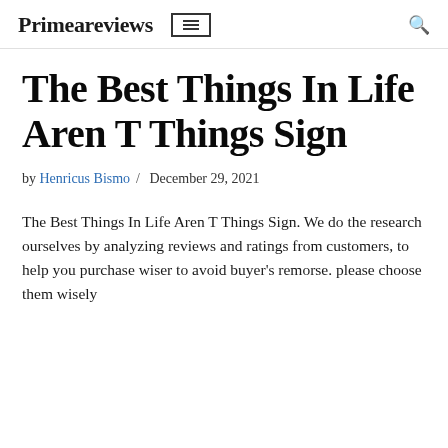Primeareviews
The Best Things In Life Aren T Things Sign
by Henricus Bismo / December 29, 2021
The Best Things In Life Aren T Things Sign. We do the research ourselves by analyzing reviews and ratings from customers, to help you purchase wiser to avoid buyer's remorse. please choose them wisely